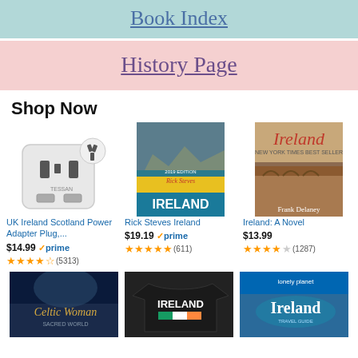Book Index
History Page
Shop Now
[Figure (photo): White travel power adapter plug with USB ports]
UK Ireland Scotland Power Adapter Plug,...
$14.99 prime
(5313)
[Figure (photo): Rick Steves Ireland travel guide book cover with rocky cliffs]
Rick Steves Ireland
$19.19 prime
(611)
[Figure (photo): Ireland: A Novel by Frank Delaney book cover]
Ireland: A Novel
$13.99
(1287)
[Figure (photo): Celtic Woman album cover]
[Figure (photo): Black Ireland t-shirt with Irish flag]
[Figure (photo): Lonely Planet Ireland travel guide cover]